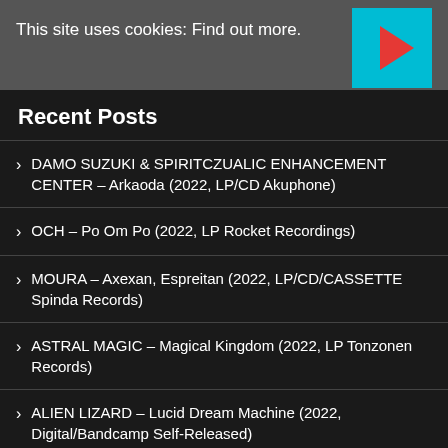This site uses cookies: Find out more.
Recent Posts
DAMO SUZUKI & SPIRITCZUALIC ENHANCEMENT CENTER – Arkaoda (2022, LP/CD Akuphone)
OCH – Po Om Po (2022, LP Rocket Recordings)
MOURA – Axexan, Espreitan (2022, LP/CD/CASSETTE Spinda Records)
ASTRAL MAGIC – Magical Kingdom (2022, LP Tonzonen Records)
ALIEN LIZARD – Lucid Dream Machine (2022, Digital/Bandcamp Self-Released)